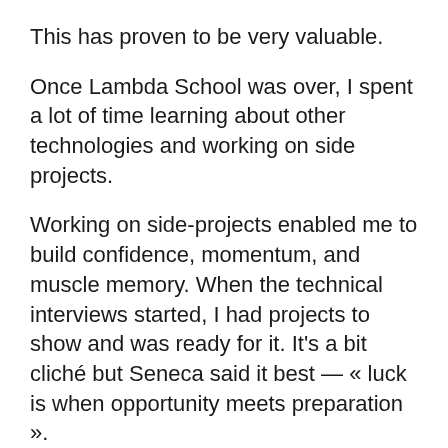This has proven to be very valuable.
Once Lambda School was over, I spent a lot of time learning about other technologies and working on side projects.
Working on side-projects enabled me to build confidence, momentum, and muscle memory. When the technical interviews started, I had projects to show and was ready for it. It’s a bit cliché but Seneca said it best — « luck is when opportunity meets preparation ».
Understanding of Growth Engineering
As I started interviewing, something became